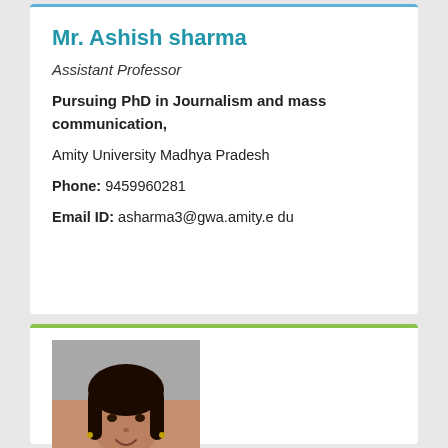Mr. Ashish sharma
Assistant Professor
Pursuing PhD in Journalism and mass communication,
Amity University Madhya Pradesh
Phone: 9459960281
Email ID: asharma3@gwa.amity.edu
[Figure (photo): Portrait photo of a woman with dark hair, wearing a pink and white outfit, smiling]